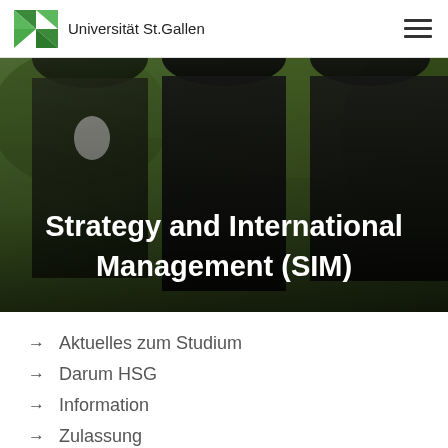Universität St. Gallen
[Figure (photo): Three smiling students (one man from Africa, one Asian woman, one blonde woman) standing outdoors in a green wooded area, with the text overlay 'Strategy and International Management (SIM)']
Strategy and International Management (SIM)
Aktuelles zum Studium
Darum HSG
Information
Zulassung
Austauschprogramme
Vorlesungen